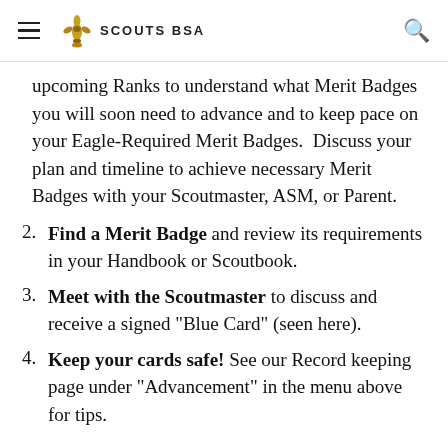SCOUTS BSA
upcoming Ranks to understand what Merit Badges you will soon need to advance and to keep pace on your Eagle-Required Merit Badges.  Discuss your plan and timeline to achieve necessary Merit Badges with your Scoutmaster, ASM, or Parent.
2. Find a Merit Badge and review its requirements in your Handbook or Scoutbook.
3. Meet with the Scoutmaster to discuss and receive a signed "Blue Card" (seen here).
4. Keep your cards safe! See our Record keeping page under "Advancement" in the menu above for tips.